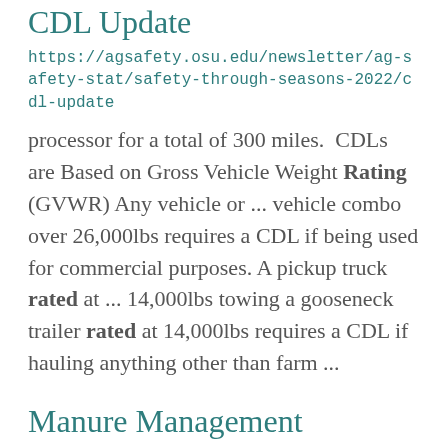CDL Update
https://agsafety.osu.edu/newsletter/ag-safety-stat/safety-through-seasons-2022/cdl-update
processor for a total of 300 miles.  CDLs are Based on Gross Vehicle Weight Rating (GVWR) Any vehicle or ... vehicle combo over 26,000lbs requires a CDL if being used for commercial purposes. A pickup truck rated at ... 14,000lbs towing a gooseneck trailer rated at 14,000lbs requires a CDL if hauling anything other than farm ...
Manure Management
https://wayne.osu.edu/program-areas/agriculture-and-natural-resources/manure-management